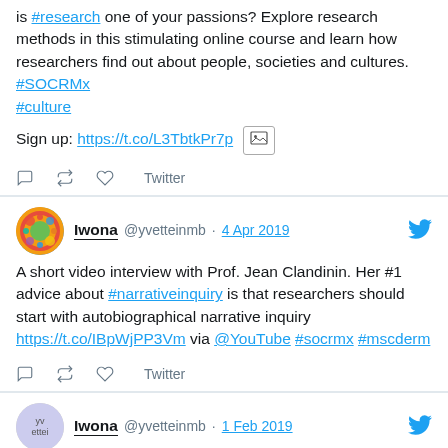is #research one of your passions? Explore research methods in this stimulating online course and learn how researchers find out about people, societies and cultures. #SOCRMx #culture
Sign up: https://t.co/L3TbtkPr7p [image icon]
[reply] [retweet] [like] Twitter
[Figure (photo): Colorful abstract avatar for Iwona]
Iwona @yvetteinmb · 4 Apr 2019
A short video interview with Prof. Jean Clandinin. Her #1 advice about #narrativeinquiry is that researchers should start with autobiographical narrative inquiry https://t.co/IBpWjPP3Vm via @YouTube #socrmx #mscderm
[reply] [retweet] [like] Twitter
[Figure (photo): Small avatar placeholder for yvettei]
Iwona @yvetteinmb · 1 Feb 2019
the art of speaking boolean